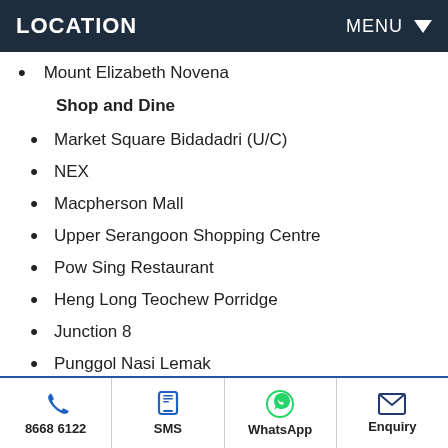LOCATION   MENU
Mount Elizabeth Novena
Shop and Dine
Market Square Bidadadri (U/C)
NEX
Macpherson Mall
Upper Serangoon Shopping Centre
Pow Sing Restaurant
Heng Long Teochew Porridge
Junction 8
Punggol Nasi Lemak
Heartland Mall
City Square Mall
Melben Seafood Restaurant
8668 6122   SMS   WhatsApp   Enquiry